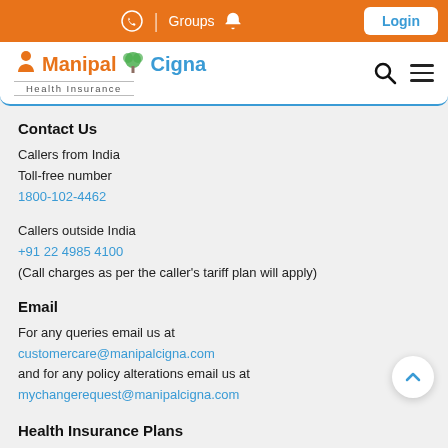Groups | Login
[Figure (logo): Manipal Cigna Health Insurance logo with orange person icon, green tree icon, blue and orange brand text, and 'Health Insurance' subtitle]
Contact Us
Callers from India
Toll-free number
1800-102-4462
Callers outside India
+91 22 4985 4100
(Call charges as per the caller's tariff plan will apply)
Email
For any queries email us at
customercare@manipalcigna.com
and for any policy alterations email us at
mychangerequest@manipalcigna.com
Health Insurance Plans